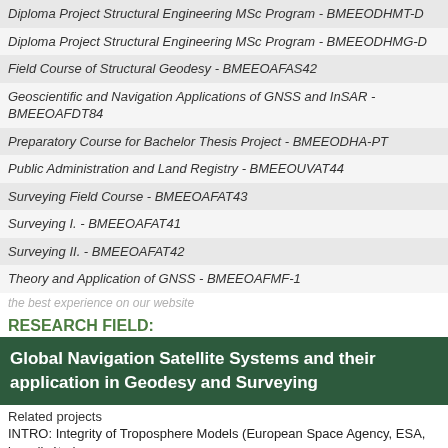| Diploma Project Structural Engineering MSc Program - BMEEODHMT-D |
| Diploma Project Structural Engineering MSc Program - BMEEODHMG-D |
| Field Course of Structural Geodesy - BMEEOAFAS42 |
| Geoscientific and Navigation Applications of GNSS and InSAR - BMEEOAFDT84 |
| Preparatory Course for Bachelor Thesis Project - BMEEODHA-PT |
| Public Administration and Land Registry - BMEEOUVAT44 |
| Surveying Field Course - BMEEOAFAT43 |
| Surveying I. - BMEEOAFAT41 |
| Surveying II. - BMEEOAFAT42 |
| Theory and Application of GNSS - BMEEOAFMF-1 |
the best experience on our website
RESEARCH FIELD:
Global Navigation Satellite Systems and their application in Geodesy and Surveying
Related projects
INTRO: Integrity of Troposphere Models (European Space Agency, ESA, koordinátor)